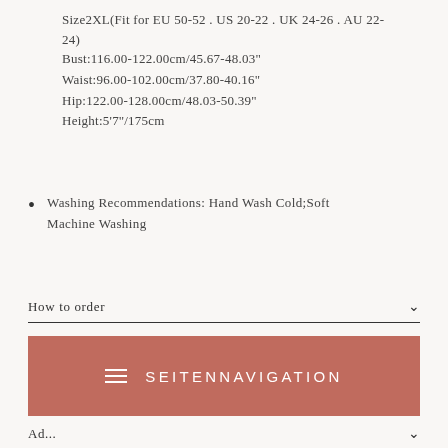Size2XL(Fit for EU 50-52 . US 20-22 . UK 24-26 . AU 22-24)
Bust:116.00-122.00cm/45.67-48.03"
Waist:96.00-102.00cm/37.80-40.16"
Hip:122.00-128.00cm/48.03-50.39"
Height:5'7''/175cm
Washing Recommendations: Hand Wash Cold;Soft Machine Washing
How to order
Payment Methods
SEITENNAVIGATION
Ad...